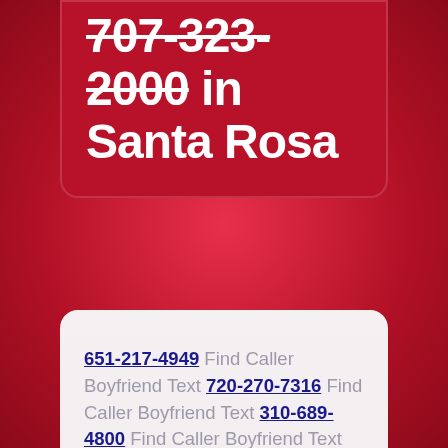707-323-2000 in Santa Rosa
651-217-4949 Find Caller Boyfriend Text 720-270-7316 Find Caller Boyfriend Text 310-689-4800 Find Caller Boyfriend Text 502-530-6339 Find Caller Boyfriend Text 202-692-6612 Find Caller Boyfriend Text 352-546-3194 Find Caller Boyfriend Text 801-729-6070 Find Caller Boyfriend Text 502-374-1658 Find Caller Boyfriend Text 309-235-3468 Find Caller Boyfriend Text 865-535-5356 Find Caller Boyfriend Text 507-672-1872 Find Caller Boyfriend Text 559-359-6712 Find Caller Boyfriend Text